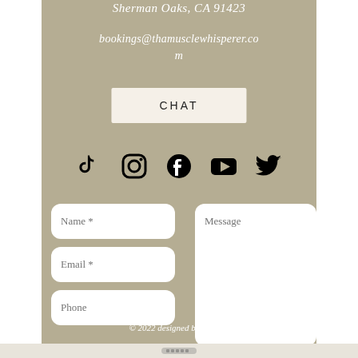Sherman Oaks, CA 91423
bookings@thamusclewhisperer.com
CHAT
[Figure (illustration): Social media icons row: TikTok, Instagram, Facebook, YouTube, Twitter]
[Figure (screenshot): Contact form with Name, Email, Phone fields on left and Message textarea on right]
Send
© 2022 designed by SantPix